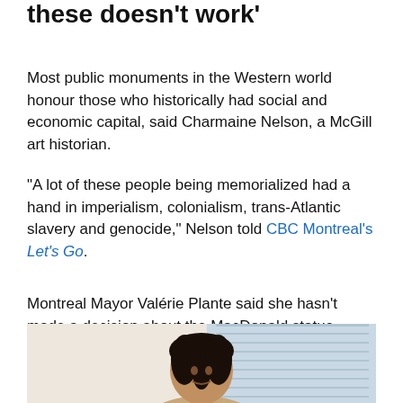these doesn't work'
Most public monuments in the Western world honour those who historically had social and economic capital, said Charmaine Nelson, a McGill art historian.
"A lot of these people being memorialized had a hand in imperialism, colonialism, trans-Atlantic slavery and genocide," Nelson told CBC Montreal's Let's Go.
Montreal Mayor Valérie Plante said she hasn't made a decision about the MacDonald statue.
[Figure (photo): Photo of a person with dark dreadlocks, partially visible from the shoulders up, in front of a window with blinds and a blurred outdoor background]